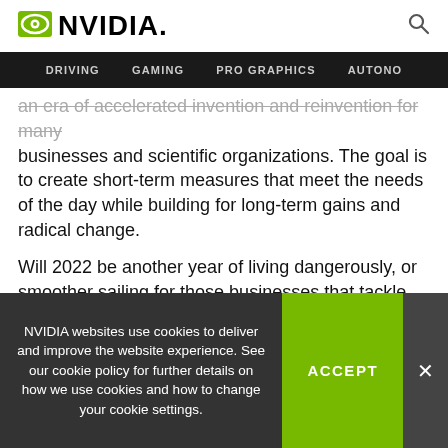NVIDIA
DRIVING   GAMING   PRO GRAPHICS   AUTONO
an era of accelerated invention and reinvention for many businesses and scientific organizations. The goal is to create short-term measures that meet the needs of the day while building for long-term gains and radical change.
Will 2022 be another year of living dangerously, or smoother sailing for those businesses that tackle the uncertainty with a firmer embrace of AI?
NVIDIA websites use cookies to deliver and improve the website experience. See our cookie policy for further details on how we use cookies and how to change your cookie settings.